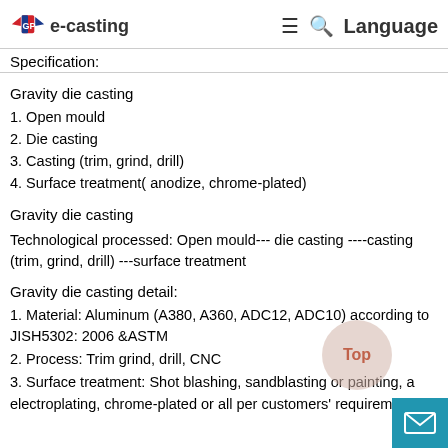e-casting   ≡  🔍  Language
Specification:
Gravity die casting
1. Open mould
2. Die casting
3. Casting (trim, grind, drill)
4. Surface treatment( anodize, chrome-plated)
Gravity die casting
Technological processed: Open mould--- die casting ----casting (trim, grind, drill) ---surface treatment
Gravity die casting detail:
1. Material: Aluminum (A380, A360, ADC12, ADC10) according to JISH5302: 2006 &ASTM
2. Process: Trim grind, drill, CNC
3. Surface treatment: Shot blashing, sandblasting or painting, a electroplating, chrome-plated or all per customers' requirement